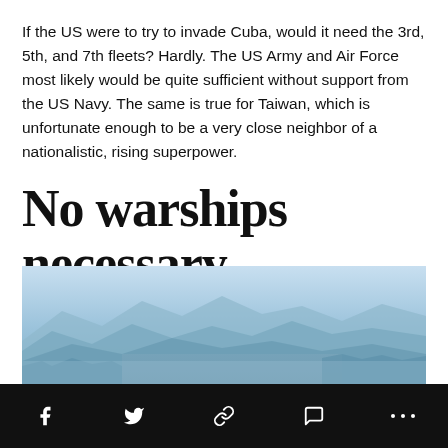If the US were to try to invade Cuba, would it need the 3rd, 5th, and 7th fleets? Hardly. The US Army and Air Force most likely would be quite sufficient without support from the US Navy. The same is true for Taiwan, which is unfortunate enough to be a very close neighbor of a nationalistic, rising superpower.
No warships necessary
[Figure (photo): Aerial or elevated view of a coastal city with mountains in the background, photographed with a blue haze, likely Taipei, Taiwan.]
Social sharing toolbar with Facebook, Twitter, link, comment, and more options icons